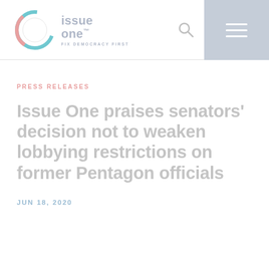Issue One — Fix Democracy First
PRESS RELEASES
Issue One praises senators' decision not to weaken lobbying restrictions on former Pentagon officials
JUN 18, 2020